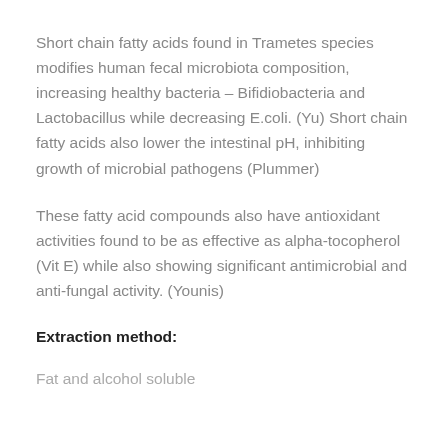Short chain fatty acids found in Trametes species modifies human fecal microbiota composition, increasing healthy bacteria – Bifidiobacteria and Lactobacillus while decreasing E.coli. (Yu) Short chain fatty acids also lower the intestinal pH, inhibiting growth of microbial pathogens (Plummer)
These fatty acid compounds also have antioxidant activities found to be as effective as alpha-tocopherol (Vit E) while also showing significant antimicrobial and anti-fungal activity. (Younis)
Extraction method:
Fat and alcohol soluble